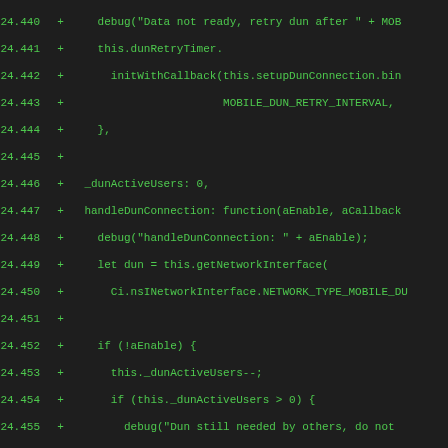Code diff view showing lines 24.440 to 24.471+ of a JavaScript file with DUN (Dial-Up Networking) connection handling logic.